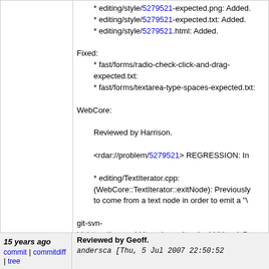* editing/style/5279521-expected.png: Added.
* editing/style/5279521-expected.txt: Added.
* editing/style/5279521.html: Added.

Fixed:
* fast/forms/radio-check-click-and-drag-expected.txt:
* fast/forms/textarea-type-spaces-expected.txt:

WebCore:

    Reviewed by Harrison.

    <rdar://problem/5279521> REGRESSION: In

    * editing/TextIterator.cpp:
    (WebCore::TextIterator::exitNode): Previously
    to come from a text node in order to emit a "\
git-svn-id: https://svn.webkit.org/repository/webkit/trunk@ cd09-0410-ab3c-d52691b4dbfc
15 years ago
Reviewed by Geoff.
andersca [Thu, 5 Jul 2007 22:50:52